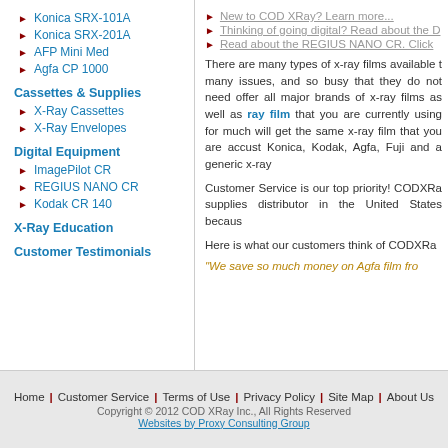Konica SRX-101A
Konica SRX-201A
AFP Mini Med
Agfa CP 1000
Cassettes & Supplies
X-Ray Cassettes
X-Ray Envelopes
Digital Equipment
ImagePilot CR
REGIUS NANO CR
Kodak CR 140
X-Ray Education
Customer Testimonials
New to COD XRay? Learn more...
Thinking of going digital? Read about the D
Read about the REGIUS NANO CR. Click
There are many types of x-ray films available t many issues, and so busy that they do not need offer all major brands of x-ray films as well as ray film that you are currently using for much will get the same x-ray film that you are accust Konica, Kodak, Agfa, Fuji and a generic x-ray
Customer Service is our top priority! CODXRa supplies distributor in the United States becaus
Here is what our customers think of CODXRa
"We save so much money on Agfa film fro
Home | Customer Service | Terms of Use | Privacy Policy | Site Map | About Us
Copyright © 2012 COD XRay Inc., All Rights Reserved
Websites by Proxy Consulting Group